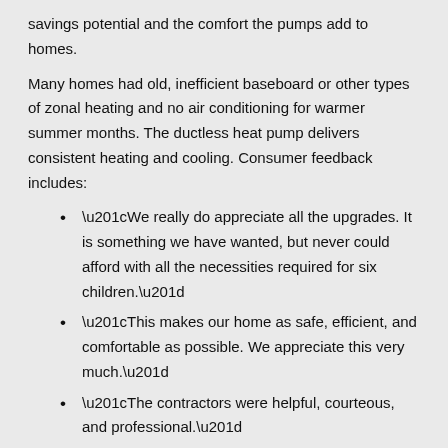savings potential and the comfort the pumps add to homes.
Many homes had old, inefficient baseboard or other types of zonal heating and no air conditioning for warmer summer months. The ductless heat pump delivers consistent heating and cooling. Consumer feedback includes:
“We really do appreciate all the upgrades. It is something we have wanted, but never could afford with all the necessities required for six children.”
“This makes our home as safe, efficient, and comfortable as possible. We appreciate this very much.”
“The contractors were helpful, courteous, and professional.”